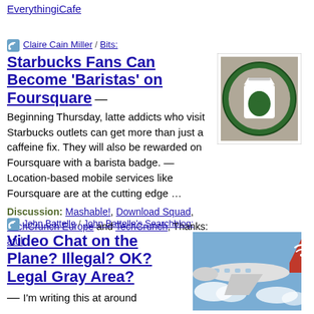EverythingiCafe
Claire Cain Miller / Bits:
Starbucks Fans Can Become 'Baristas' on Foursquare
[Figure (photo): Starbucks logo badge - circular green and beige badge with Starbucks cup icon]
Beginning Thursday, latte addicts who visit Starbucks outlets can get more than just a caffeine fix.  They will also be rewarded on Foursquare with a barista badge.  —  Location-based mobile services like Foursquare are at the cutting edge …
Discussion:  Mashable!, Download Squad, TechCrunch Europe and TechCrunch, Thanks: atul
John Battelle / John Battelle's Searchblog:
Video Chat on the Plane?  Illegal?  OK?  Legal Gray Area?
[Figure (photo): Airplane tail with wifi/signal icon, plane flying through clouds]
— I'm writing this at around